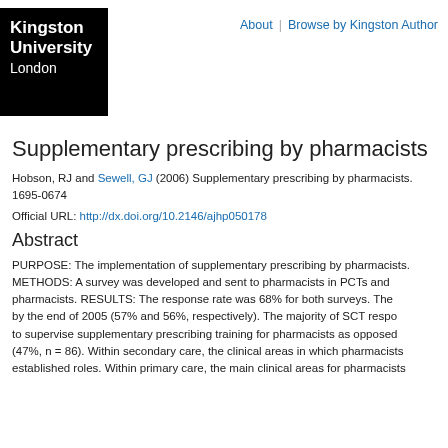[Figure (logo): Kingston University London logo — white text on black background]
About | Browse by Kingston Author
Supplementary prescribing by pharmacists
Hobson, RJ and Sewell, GJ (2006) Supplementary prescribing by pharmacists. 1695-0674
Official URL: http://dx.doi.org/10.2146/ajhp050178
Abstract
PURPOSE: The implementation of supplementary prescribing by pharmacists. METHODS: A survey was developed and sent to pharmacists in PCTs and pharmacists. RESULTS: The response rate was 68% for both surveys. The by the end of 2005 (57% and 56%, respectively). The majority of SCT respo to supervise supplementary prescribing training for pharmacists as opposed (47%, n = 86). Within secondary care, the clinical areas in which pharmacists established roles. Within primary care, the main clinical areas for pharmacists